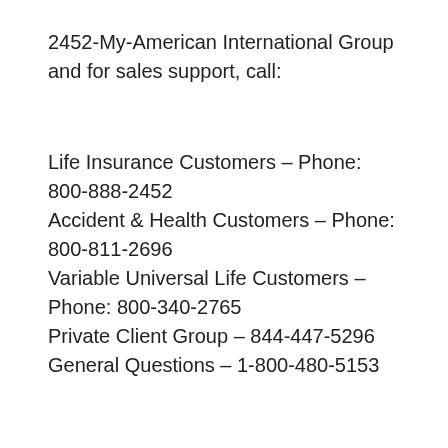2452-My-American International Group and for sales support, call:
Life Insurance Customers – Phone: 800-888-2452
Accident & Health Customers – Phone: 800-811-2696
Variable Universal Life Customers – Phone: 800-340-2765
Private Client Group – 844-447-5296
General Questions – 1-800-480-5153